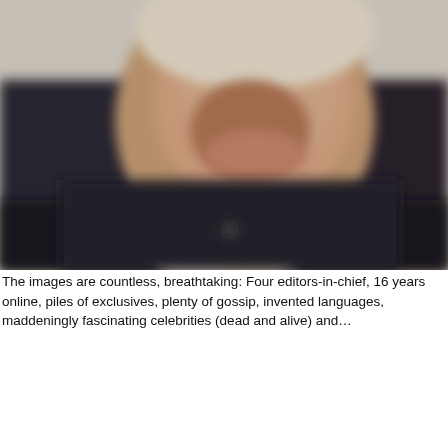[Figure (photo): A blurry close-up photograph of an elderly or middle-aged person smiling, wearing a dark (black) top with a light-colored collar or scarf area visible. The image is out of focus, showing face and upper torso against a light background.]
The images are countless, breathtaking: Four editors-in-chief, 16 years online, piles of exclusives, plenty of gossip, invented languages, maddeningly fascinating celebrities (dead and alive) and…